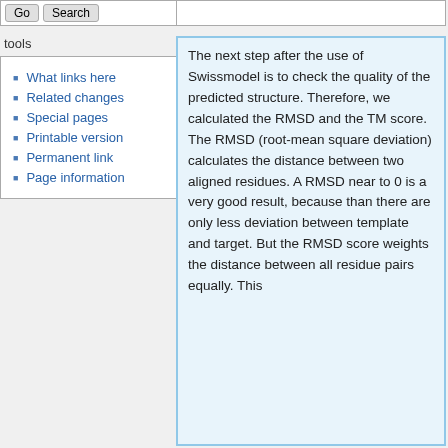What links here
Related changes
Special pages
Printable version
Permanent link
Page information
The next step after the use of Swissmodel is to check the quality of the predicted structure. Therefore, we calculated the RMSD and the TM score. The RMSD (root-mean square deviation) calculates the distance between two aligned residues. A RMSD near to 0 is a very good result, because than there are only less deviation between template and target. But the RMSD score weights the distance between all residue pairs equally. This